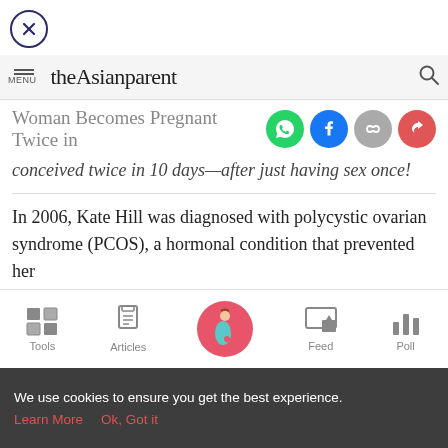[Figure (other): Close button (X in circle)]
theAsianparent
Woman Becomes Pregnant Twice in
conceived twice in 10 days—after just having sex once!
In 2006, Kate Hill was diagnosed with polycystic ovarian syndrome (PCOS), a hormonal condition that prevented her
Tools | Articles | Feed | Poll
We use cookies to ensure you get the best experience. Learn More  Ok, Got it